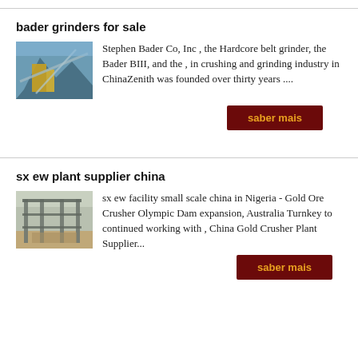bader grinders for sale
[Figure (photo): Industrial crushing/grinding equipment with blue sky background, yellow machinery visible]
Stephen Bader Co, Inc , the Hardcore belt grinder, the Bader BIII, and the , in crushing and grinding industry in ChinaZenith was founded over thirty years ....
sx ew plant supplier china
[Figure (photo): Metal frame structure of an industrial plant, outdoor setting with sandy/dirt ground]
sx ew facility small scale china in Nigeria - Gold Ore Crusher Olympic Dam expansion, Australia Turnkey to continued working with , China Gold Crusher Plant Supplier...